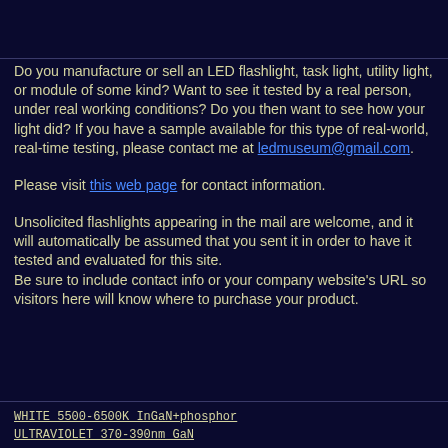Do you manufacture or sell an LED flashlight, task light, utility light, or module of some kind? Want to see it tested by a real person, under real working conditions? Do you then want to see how your light did? If you have a sample available for this type of real-world, real-time testing, please contact me at ledmuseum@gmail.com.
Please visit this web page for contact information.
Unsolicited flashlights appearing in the mail are welcome, and it will automatically be assumed that you sent it in order to have it tested and evaluated for this site. Be sure to include contact info or your company website's URL so visitors here will know where to purchase your product.
WHITE 5500-6500K InGaN+phosphor
ULTRAVIOLET 370-390nm GaN